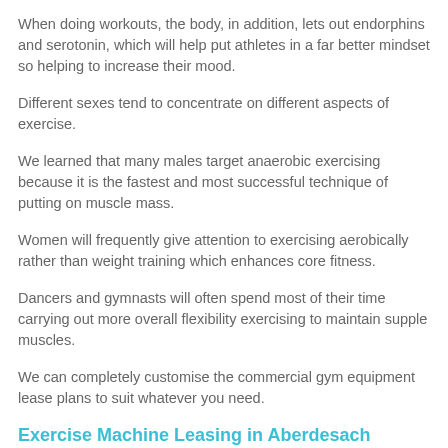When doing workouts, the body, in addition, lets out endorphins and serotonin, which will help put athletes in a far better mindset so helping to increase their mood.
Different sexes tend to concentrate on different aspects of exercise.
We learned that many males target anaerobic exercising because it is the fastest and most successful technique of putting on muscle mass.
Women will frequently give attention to exercising aerobically rather than weight training which enhances core fitness.
Dancers and gymnasts will often spend most of their time carrying out more overall flexibility exercising to maintain supple muscles.
We can completely customise the commercial gym equipment lease plans to suit whatever you need.
Exercise Machine Leasing in Aberdesach
At gyms, the most popular fitness equipment is usually treadmill